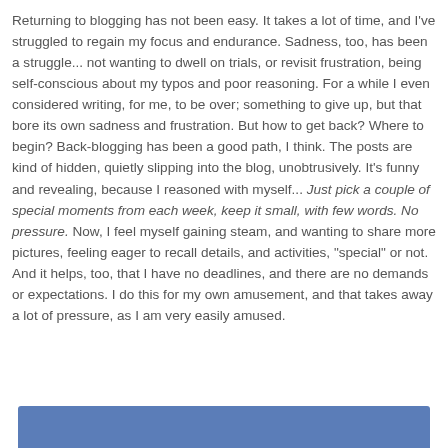Returning to blogging has not been easy. It takes a lot of time, and I've struggled to regain my focus and endurance. Sadness, too, has been a struggle... not wanting to dwell on trials, or revisit frustration, being self-conscious about my typos and poor reasoning. For a while I even considered writing, for me, to be over; something to give up, but that bore its own sadness and frustration. But how to get back? Where to begin? Back-blogging has been a good path, I think. The posts are kind of hidden, quietly slipping into the blog, unobtrusively. It's funny and revealing, because I reasoned with myself... Just pick a couple of special moments from each week, keep it small, with few words. No pressure. Now, I feel myself gaining steam, and wanting to share more pictures, feeling eager to recall details, and activities, "special" or not. And it helps, too, that I have no deadlines, and there are no demands or expectations. I do this for my own amusement, and that takes away a lot of pressure, as I am very easily amused.
[Figure (photo): Partially visible image with a blue/steel-blue colored top area, cropped at the bottom of the page.]